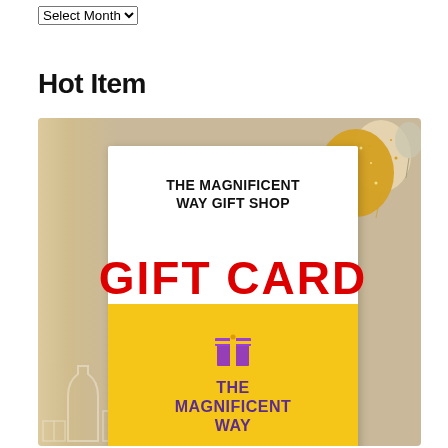Select Month
Hot Item
[Figure (illustration): Gift card promotional image for The Magnificent Way Gift Shop. Shows a white-framed gift card with 'THE MAGNIFICENT GIFT SHOP' text at top, large red 'GIFT CARD' text overlaid, and a yellow lower section with a purple gift box icon and purple bold text 'THE MAGNIFICENT WAY GIFT SHOP'. Background is beige/tan with gold balloons in the top right and faint champagne bottle/gift box outlines at bottom left.]